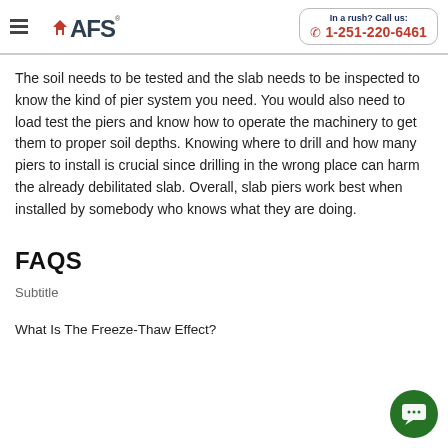In a rush? Call us: 1-251-220-6461
The soil needs to be tested and the slab needs to be inspected to know the kind of pier system you need. You would also need to load test the piers and know how to operate the machinery to get them to proper soil depths. Knowing where to drill and how many piers to install is crucial since drilling in the wrong place can harm the already debilitated slab. Overall, slab piers work best when installed by somebody who knows what they are doing.
FAQS
Subtitle
What Is The Freeze-Thaw Effect?